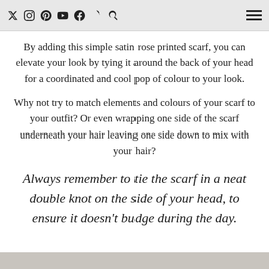Social media icons (Twitter, Instagram, Pinterest, YouTube, Facebook, Snapchat, Search) and hamburger menu
By adding this simple satin rose printed scarf, you can elevate your look by tying it around the back of your head for a coordinated and cool pop of colour to your look.
Why not try to match elements and colours of your scarf to your outfit? Or even wrapping one side of the scarf underneath your hair leaving one side down to mix with your hair?
Always remember to tie the scarf in a neat double knot on the side of your head, to ensure it doesn't budge during the day.